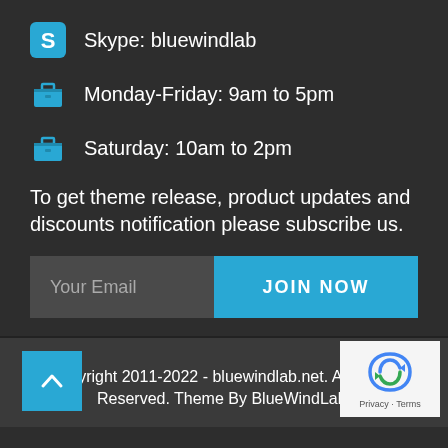Skype: bluewindlab
Monday-Friday: 9am to 5pm
Saturday: 10am to 2pm
To get theme release, product updates and discounts notification please subscribe us.
Your Email
JOIN NOW
Copyright 2011-2022 - bluewindlab.net. All Rights Reserved. Theme By BlueWindLab.